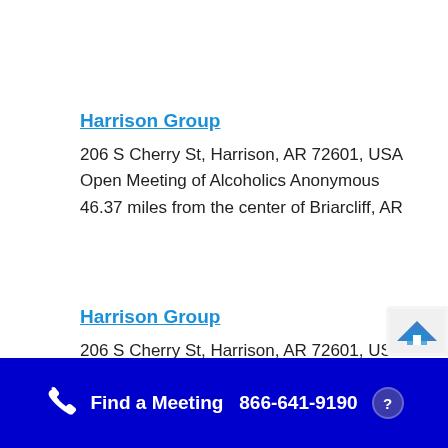Harrison Group
206 S Cherry St, Harrison, AR 72601, USA
Open Meeting of Alcoholics Anonymous
46.37 miles from the center of Briarcliff, AR
Harrison Group
206 S Cherry St, Harrison, AR 72601, USA
Open Meeting of Alcoholics Anonymous
Find a Meeting  866-641-9190